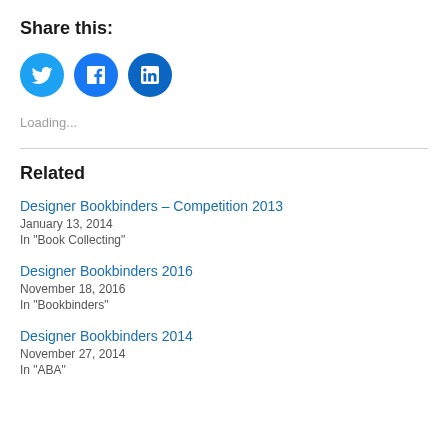Share this:
[Figure (infographic): Three social media share buttons: Twitter (blue bird), Facebook (blue f), LinkedIn (blue in)]
Loading...
Related
Designer Bookbinders – Competition 2013
January 13, 2014
In "Book Collecting"
Designer Bookbinders 2016
November 18, 2016
In "Bookbinders"
Designer Bookbinders 2014
November 27, 2014
In "ABA"